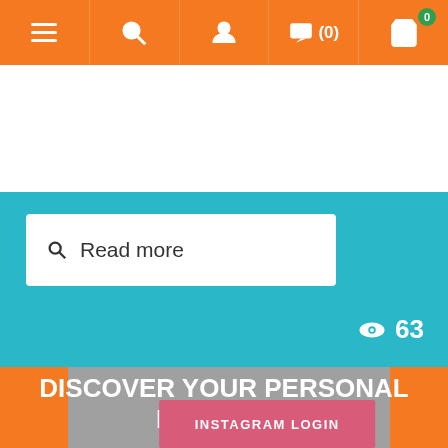Navigation bar with menu, search, account, chat (0), and cart icons
your performance and through lighting control you get all this!
[Figure (screenshot): Teal card with a 'Read more' button and a view count of 63]
DISCOVER YOUR PERSONAL DISCOUNT
INSTAGRAM LOGIN